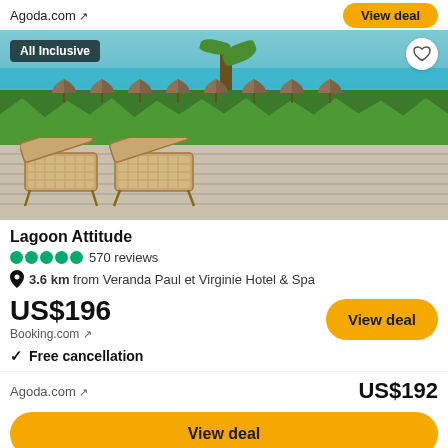Agoda.com ↗
[Figure (photo): Beach resort scene with two wicker lounge chairs on a wooden deck, thatched umbrellas in background, tropical greenery and turquoise sea. Badge: All Inclusive.]
Lagoon Attitude
●●●●● 570 reviews
📍 3.6 km from Veranda Paul et Virginie Hotel & Spa
US$196
Booking.com ↗
✓ Free cancellation
Agoda.com ↗
US$192
View deal